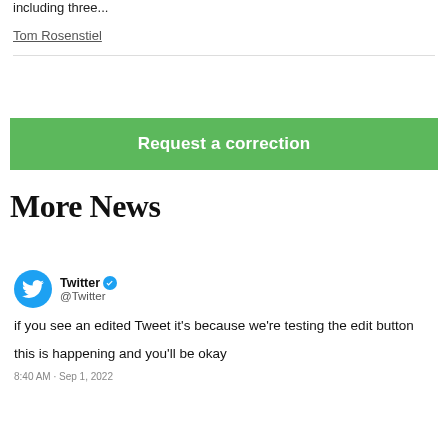including three...
Tom Rosenstiel
Request a correction
More News
[Figure (screenshot): Embedded tweet from Twitter (@Twitter) verified account: 'if you see an edited Tweet it's because we're testing the edit button

this is happening and you'll be okay

8:40 AM · Sep 1, 2022']